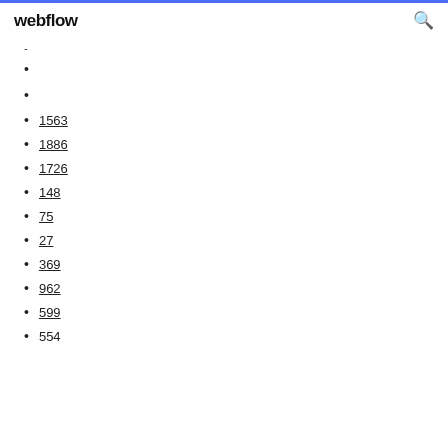webflow
-
1563
1886
1726
148
75
27
369
962
599
554